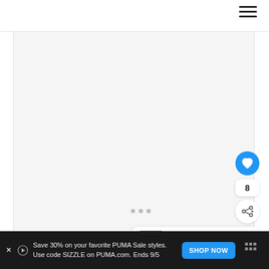Navigation bar with hamburger menu
[Figure (screenshot): Light gray content area / image viewer with three dot pagination indicators]
[Figure (infographic): Heart/like button (blue circle), count of 8, and share button on right side]
WHAT'S NEXT → 50 Christmas Wedding...
Save 30% on your favorite PUMA Sale styles. Use code SIZZLE on PUMA.com. Ends 9/5
SHOP NOW